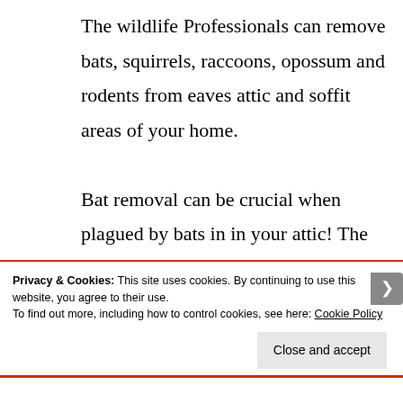The wildlife Professionals can remove bats, squirrels, raccoons, opossum and rodents from eaves attic and soffit areas of your home. Bat removal can be crucial when plagued by bats in in your attic! The Wildlife Professionals does not trap bats in you home, the use of a one-way bat door exclusive to
Privacy & Cookies: This site uses cookies. By continuing to use this website, you agree to their use.
To find out more, including how to control cookies, see here: Cookie Policy
Close and accept